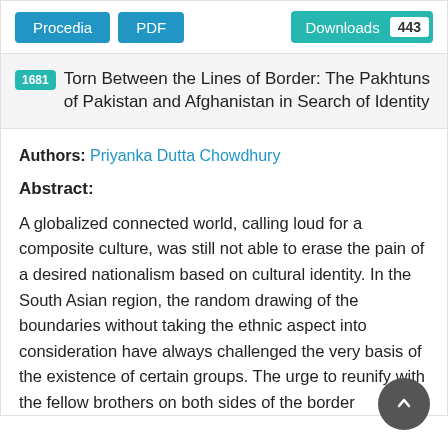Procedia | PDF | Downloads 443
1681 Torn Between the Lines of Border: The Pakhtuns of Pakistan and Afghanistan in Search of Identity
Authors: Priyanka Dutta Chowdhury
Abstract:
A globalized connected world, calling loud for a composite culture, was still not able to erase the pain of a desired nationalism based on cultural identity. In the South Asian region, the random drawing of the boundaries without taking the ethnic aspect into consideration have always challenged the very basis of the existence of certain groups. The urge to reunify with the fellow brothers on both sides of the border have always called for a deeper understanding in the